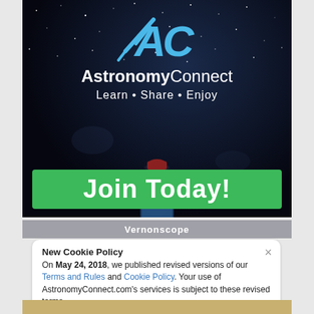[Figure (illustration): AstronomyConnect banner advertisement with dark night sky background showing a person silhouette with a laptop, a blue AC logo, the text 'AstronomyConnect Learn • Share • Enjoy', and a green 'Join Today!' button.]
Vernonscope
New Cookie Policy
On May 24, 2018, we published revised versions of our Terms and Rules and Cookie Policy. Your use of AstronomyConnect.com's services is subject to these revised terms.